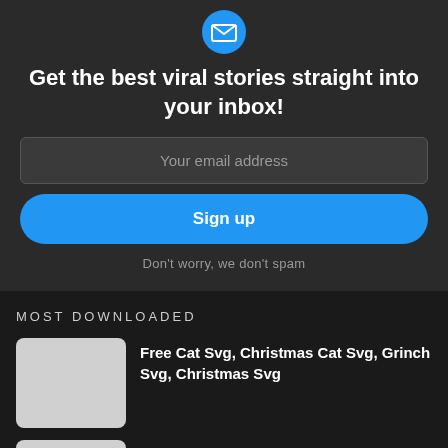[Figure (illustration): Blue circular email icon at top of subscription widget]
Get the best viral stories straight into your inbox!
Your email address
Sign up
Don't worry, we don't spam
MOST DOWNLOADED
Free Cat Svg, Christmas Cat Svg, Grinch Svg, Christmas Svg
Free Cat Svg, Cat Dad Svg, Fathers Day Svg